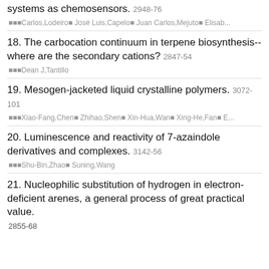systems as chemosensors. 2948-76
■■■Carlos,Lodeiro■ José Luis,Capelo■ Juan Carlos,Mejuto■ Elisab...
18. The carbocation continuum in terpene biosynthesis--where are the secondary cations? 2847-54
■■■Dean J,Tantillo
19. Mesogen-jacketed liquid crystalline polymers. 3072-101
■■■Xiao-Fang,Chen■ Zhihao,Shen■ Xin-Hua,Wan■ Xing-He,Fan■ E...
20. Luminescence and reactivity of 7-azaindole derivatives and complexes. 3142-56
■■■Shu-Bin,Zhao■ Suning,Wang
21. Nucleophilic substitution of hydrogen in electron-deficient arenes, a general process of great practical value. 2855-68